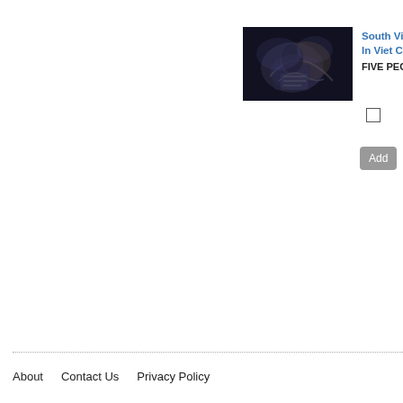[Figure (photo): Dark thumbnail image showing figures in a smoky or dimly lit scene, appears to be a historical photograph]
South Vie... In Viet Co...
FIVE PEOP...
Add
About   Contact Us   Privacy Policy